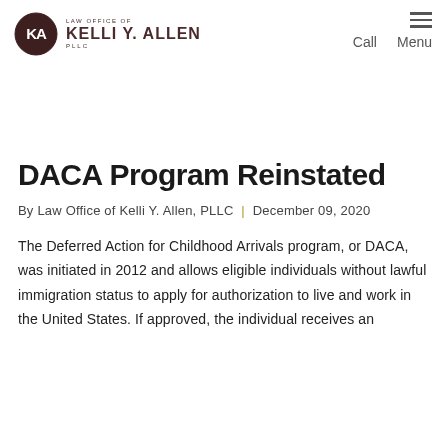Law Office of Kelli Y. Allen, PLLC — Call | Menu
DACA Program Reinstated
By Law Office of Kelli Y. Allen, PLLC | December 09, 2020
The Deferred Action for Childhood Arrivals program, or DACA, was initiated in 2012 and allows eligible individuals without lawful immigration status to apply for authorization to live and work in the United States. If approved, the individual receives an